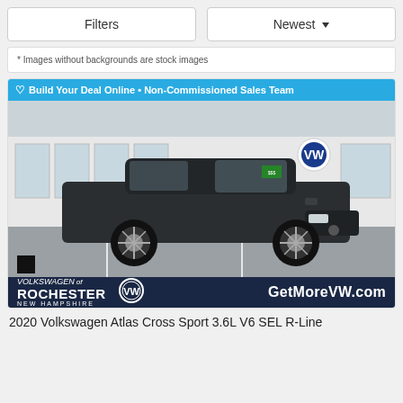Filters
Newest ▾
* Images without backgrounds are stock images
[Figure (photo): 2020 Volkswagen Atlas Cross Sport SUV parked in front of a Volkswagen dealership (Volkswagen of Rochester, New Hampshire). The vehicle is black/dark gray. A blue banner reads 'Build Your Deal Online • Non-Commissioned Sales Team'. The dealer footer shows 'Volkswagen of Rochester New Hampshire', VW logo, and 'GetMoreVW.com'.]
2020 Volkswagen Atlas Cross Sport 3.6L V6 SEL R-Line